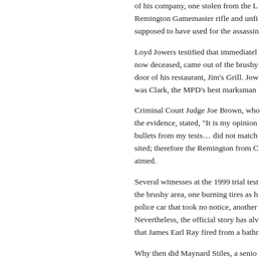of his company, one stolen from the L... Remington Gamemaster rifle and unfi... supposed to have used for the assassin...
Loyd Jowers testified that immediately... now deceased, came out of the brushy... door of his restaurant, Jim's Grill. Jow... was Clark, the MPD's best marksman...
Criminal Court Judge Joe Brown, who... the evidence, stated, "It is my opinion... bullets from my tests… did not match... sited; therefore the Remington from C... aimed.
Several witnesses at the 1999 trial test... the brushy area, one burning tires as h... police car that took no notice, another... Nevertheless, the official story has alw... that James Earl Ray fired from a bathr...
Why then did Maynard Stiles, a senio...